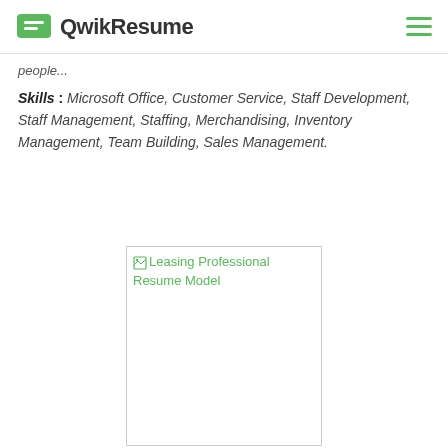QwikResume
people...
Skills : Microsoft Office, Customer Service, Staff Development, Staff Management, Staffing, Merchandising, Inventory Management, Team Building, Sales Management.
[Figure (other): Leasing Professional Resume Model - broken image placeholder with green link text]